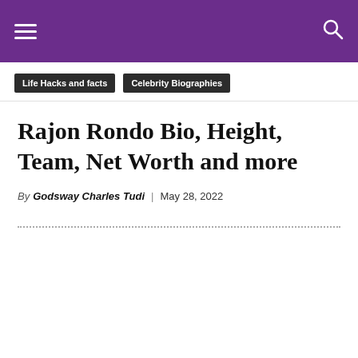[Navigation bar with hamburger menu and search icon on purple background]
Life Hacks and facts
Celebrity Biographies
Rajon Rondo Bio, Height, Team, Net Worth and more
By Godsway Charles Tudi | May 28, 2022